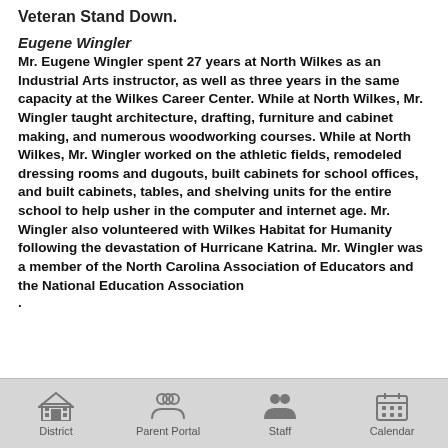Veteran Stand Down.
Eugene Wingler
Mr. Eugene Wingler spent 27 years at North Wilkes as an Industrial Arts instructor, as well as three years in the same capacity at the Wilkes Career Center. While at North Wilkes, Mr. Wingler taught architecture, drafting, furniture and cabinet making, and numerous woodworking courses. While at North Wilkes, Mr. Wingler worked on the athletic fields, remodeled dressing rooms and dugouts, built cabinets for school offices, and built cabinets, tables, and shelving units for the entire school to help usher in the computer and internet age. Mr. Wingler also volunteered with Wilkes Habitat for Humanity following the devastation of Hurricane Katrina. Mr. Wingler was a member of the North Carolina Association of Educators and the National Education Association.
District | Parent Portal | Staff | Calendar